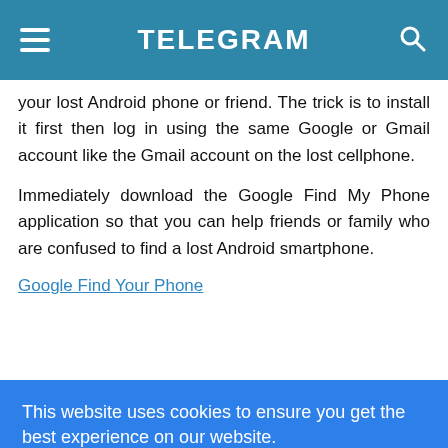TELEGRAM
your lost Android phone or friend. The trick is to install it first then log in using the same Google or Gmail account like the Gmail account on the lost cellphone.
Immediately download the Google Find My Phone application so that you can help friends or family who are confused to find a lost Android smartphone.
Google Find Your Phone
This website uses cookies to ensure you get the best experience on our website. Learn more
Got it!